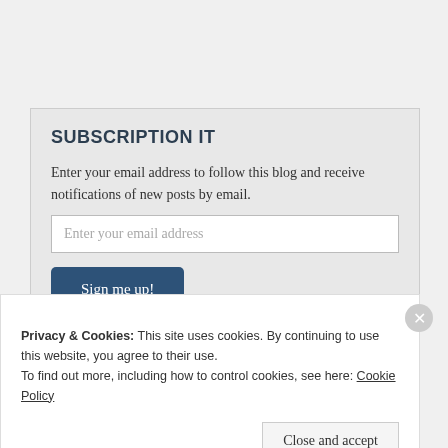SUBSCRIPTION IT
Enter your email address to follow this blog and receive notifications of new posts by email.
Enter your email address
Sign me up!
Join 455 other followers
Privacy & Cookies: This site uses cookies. By continuing to use this website, you agree to their use.
To find out more, including how to control cookies, see here: Cookie Policy
Close and accept